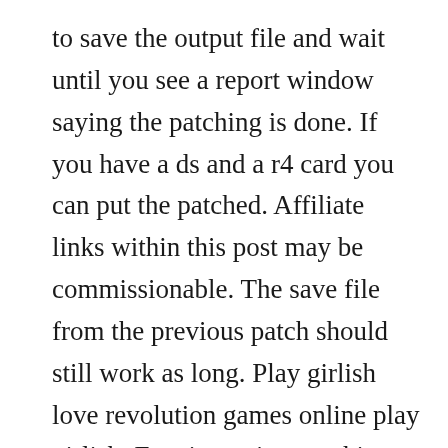to save the output file and wait until you see a report window saying the patching is done. If you have a ds and a r4 card you can put the patched. Affiliate links within this post may be commissionable. The save file from the previous patch should still work as long. Play girlish love revolution games online play girlish. Enzai, togainu no chi, lucky dog 1, absolute obedience. Open the patcher the one you downloaded click fileopen. Girlish love revolution also known as otometeki koi kakumei love revo platform.